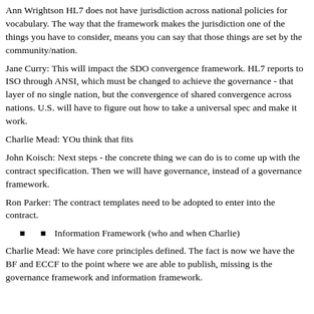Ann Wrightson HL7 does not have jurisdiction across national policies for vocabulary. The way that the framework makes the jurisdiction one of the things you have to consider, means you can say that those things are set by the community/nation.
Jane Curry: This will impact the SDO convergence framework. HL7 reports to ISO through ANSI, which must be changed to achieve the governance - that layer of no single nation, but the convergence of shared convergence across nations. U.S. will have to figure out how to take a universal spec and make it work.
Charlie Mead: YOu think that fits
John Koisch: Next steps - the concrete thing we can do is to come up with the contract specification. Then we will have governance, instead of a governance framework.
Ron Parker: The contract templates need to be adopted to enter into the contract.
Information Framework (who and when Charlie)
Charlie Mead: We have core principles defined. The fact is now we have the BF and ECCF to the point where we are able to publish, missing is the governance framework and information framework.